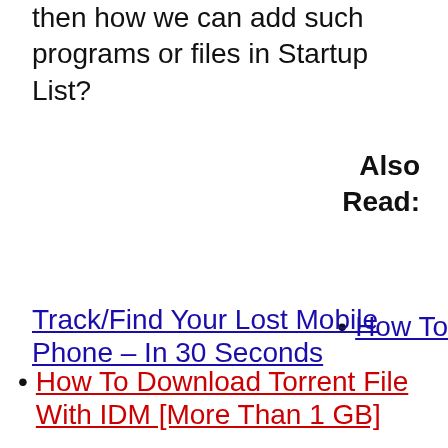then how we can add such programs or files in Startup List?
Also Read:
How To
Track/Find Your Lost Mobile Phone – In 30 Seconds
How To Download Torrent File With IDM [More Than 1 GB]